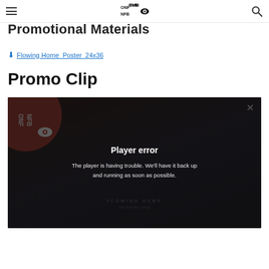NFB/ONF logo and navigation
Promotional Materials
⬇ Flowing Home_Poster_24x36
Promo Clip
[Figure (screenshot): Video player showing 'Player error' overlay. The player background shows a film still with a person and the text FLOWING HOME (Nhu mot dong song). The error overlay reads: Player error. The player is having trouble. We'll have it back up and running as soon as possible. An NFB/ONF logo is visible in the upper left of the player, and a close X button in the upper right.]